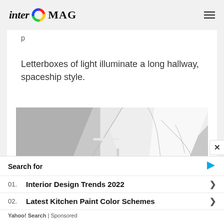inter MAG
p
Letterboxes of light illuminate a long hallway, spaceship style.
[Figure (photo): Interior hallway photo with sharp angular white walls and dramatic light effects creating a spaceship-like appearance]
Search for
01. Interior Design Trends 2022
02. Latest Kitchen Paint Color Schemes
Yahoo! Search | Sponsored